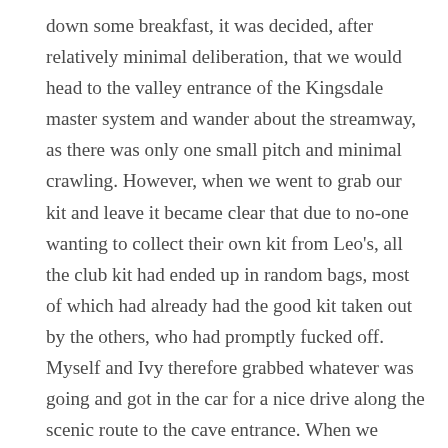down some breakfast, it was decided, after relatively minimal deliberation, that we would head to the valley entrance of the Kingsdale master system and wander about the streamway, as there was only one small pitch and minimal crawling. However, when we went to grab our kit and leave it became clear that due to no-one wanting to collect their own kit from Leo's, all the club kit had ended up in random bags, most of which had already had the good kit taken out by the others, who had promptly fucked off. Myself and Ivy therefore grabbed whatever was going and got in the car for a nice drive along the scenic route to the cave entrance. When we reached the layby it was decided that I would start getting changed first, as it would take me longer. After gaffa taping a bin bag over my cast and deftly slipping into my caving clothes and oversuit (by myself!) the real faff began. The wetsocks went on rather easily, and although I couldn't do it alone, the kneepads and